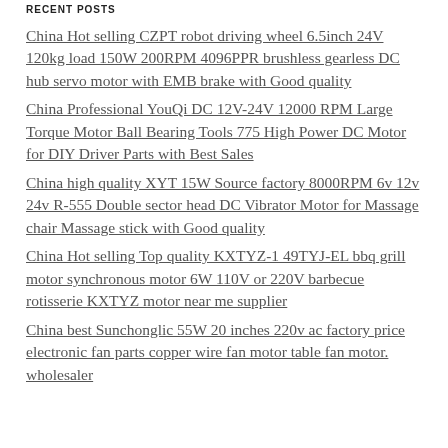RECENT POSTS
China Hot selling CZPT robot driving wheel 6.5inch 24V 120kg load 150W 200RPM 4096PPR brushless gearless DC hub servo motor with EMB brake with Good quality
China Professional YouQi DC 12V-24V 12000 RPM Large Torque Motor Ball Bearing Tools 775 High Power DC Motor for DIY Driver Parts with Best Sales
China high quality XYT 15W Source factory 8000RPM 6v 12v 24v R-555 Double sector head DC Vibrator Motor for Massage chair Massage stick with Good quality
China Hot selling Top quality KXTYZ-1 49TYJ-EL bbq grill motor synchronous motor 6W 110V or 220V barbecue rotisserie KXTYZ motor near me supplier
China best Sunchonglic 55W 20 inches 220v ac factory price electronic fan parts copper wire fan motor table fan motor. wholesaler